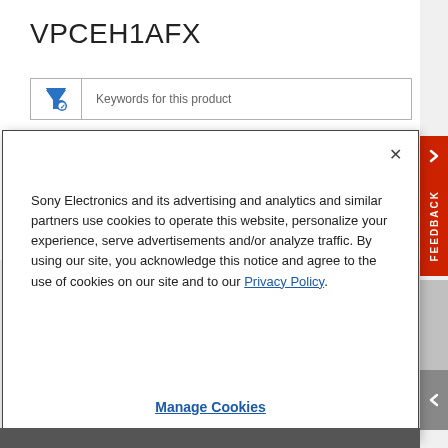VPCEH1AFX
[Figure (screenshot): Search/filter input box with funnel icon and placeholder text 'Keywords for this product']
[Figure (screenshot): Cookie consent modal dialog with close button (×), body text about Sony Electronics cookie policy, Privacy Policy link, and Manage Cookies button]